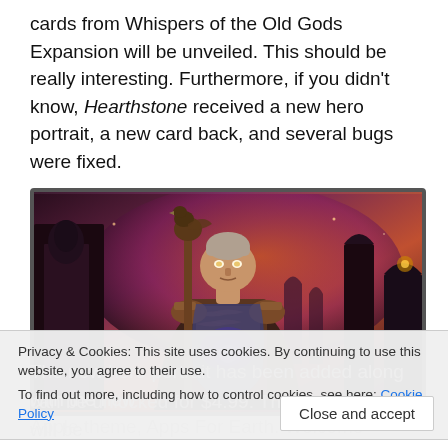cards from Whispers of the Old Gods Expansion will be unveiled. This should be really interesting. Furthermore, if you didn't know, Hearthstone received a new hero portrait, a new card back, and several bugs were fixed.
[Figure (illustration): A fantasy warrior hero character with a staff topped with a bird, wearing dark armor with a purple glow, standing in a dramatic fiery red-purple atmospheric scene with pillars in the background. Hearthstone game hero portrait artwork.]
Privacy & Cookies: This site uses cookies. By continuing to use this website, you agree to their use.
To find out more, including how to control cookies, see here: Cookie Policy
The new hero portrait has been added along with the new Apple theme, Apps For Earth. Welcome Medivh, which can be unlocked for $4.99. The money spent will be